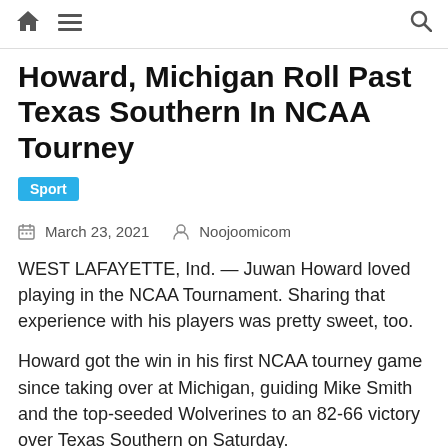Home | Menu | Search
Howard, Michigan Roll Past Texas Southern In NCAA Tourney
Sport
March 23, 2021   Noojoomicom
WEST LAFAYETTE, Ind. — Juwan Howard loved playing in the NCAA Tournament. Sharing that experience with his players was pretty sweet, too.
Howard got the win in his first NCAA tourney game since taking over at Michigan, guiding Mike Smith and the top-seeded Wolverines to an 82-66 victory over Texas Southern on Saturday.
Smith scored 18 points and Hunter Dickinson added 16 as Michigan rolled into the second round without Isaiah Livers, who is out with a foot injury. Eli Brooks and Brandon Johns Jr. had 11 points apiece.